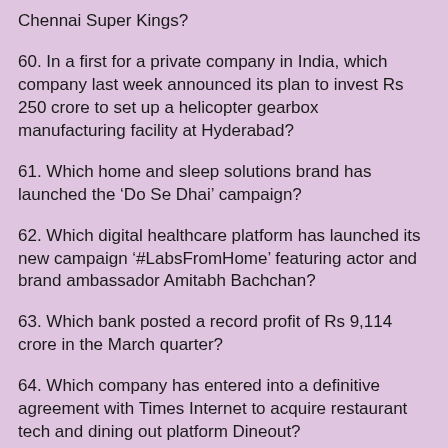Chennai Super Kings?
60. In a first for a private company in India, which company last week announced its plan to invest Rs 250 crore to set up a helicopter gearbox manufacturing facility at Hyderabad?
61. Which home and sleep solutions brand has launched the ‘Do Se Dhai’ campaign?
62. Which digital healthcare platform has launched its new campaign ‘#LabsFromHome’ featuring actor and brand ambassador Amitabh Bachchan?
63. Which bank posted a record profit of Rs 9,114 crore in the March quarter?
64. Which company has entered into a definitive agreement with Times Internet to acquire restaurant tech and dining out platform Dineout?
65. India’s merchandise exports crossed which milestone